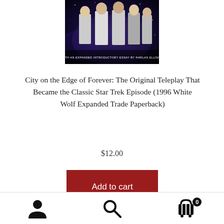[Figure (photo): Book cover for 'City on the Edge of Forever' — shows people in suits against a space/galaxy background with text 'WITH AN EXPANDED INTRODUCTORY ESSAY BY HARLAN ELLISON']
City on the Edge of Forever: The Original Teleplay That Became the Classic Star Trek Episode (1996 White Wolf Expanded Trade Paperback)
$12.00
Add to cart
NOTE: